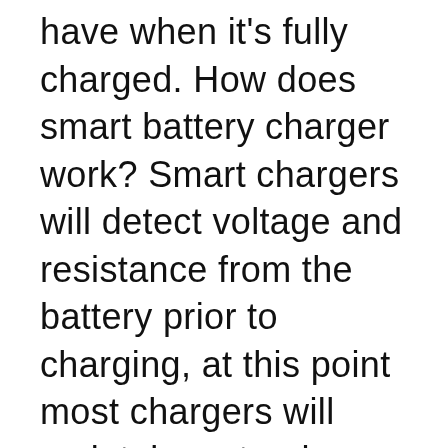have when it's fully charged. How does smart battery charger work? Smart chargers will detect voltage and resistance from the battery prior to charging, at this point most chargers will maintain a steady voltage, while the amperage declines. The lower current going into the battery safely brings up the charge on the